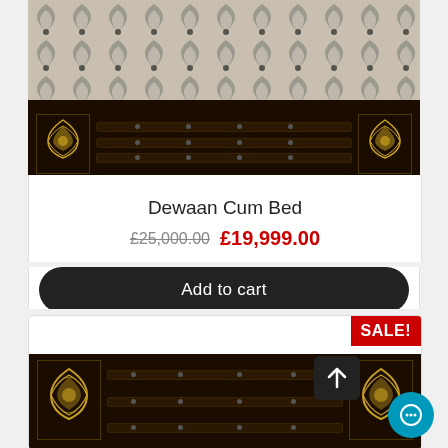[Figure (photo): Close-up photo of a Dewaan Cum Bed showing decorative mattress with fan/scallop pattern in grey and beige tones, and dark wooden bed frame with ornamental lattice side panels glowing yellow]
Dewaan Cum Bed
£25,000.00  £19,999.00
Add to cart
[Figure (photo): Partial product photo of a second bed item with SALE! badge, dark wooden frame with ornamental side panels, back-to-top arrow button and chat button visible]
SALE!